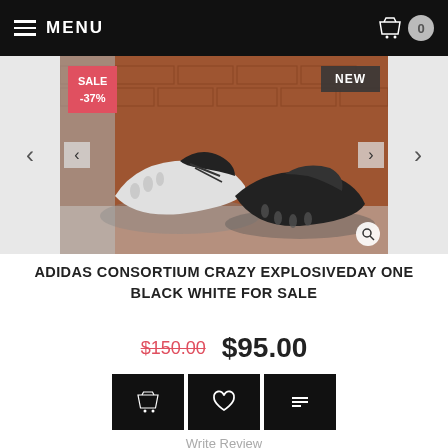MENU
[Figure (photo): Product photo of Adidas Consortium Crazy Explosiveday One Black White sneakers against a brick wall background. A red SALE -37% badge is on the top-left of the image and a dark NEW badge on the top-right.]
ADIDAS CONSORTIUM CRAZY EXPLOSIVEDAY ONE BLACK WHITE FOR SALE
$150.00  $95.00
Write Review